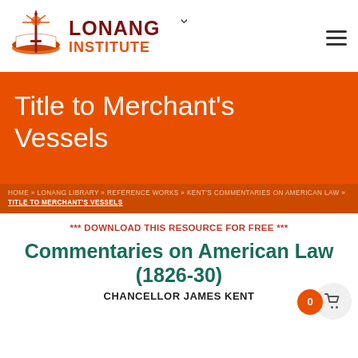[Figure (logo): Lonang Institute logo with sword/book emblem and text LONANG INSTITUTE]
LONANG INSTITUTE
Title to Merchant's Vessels
HOME » LONANG LIBRARY » REFERENCE WORKS » KENT'S COMMENTARIES ON AMERICAN LAW » TITLE TO MERCHANT'S VESSELS
*** DOWNLOAD THIS RESOURCE FOR FREE ***
Commentaries on American Law (1826-30)
CHANCELLOR JAMES KENT